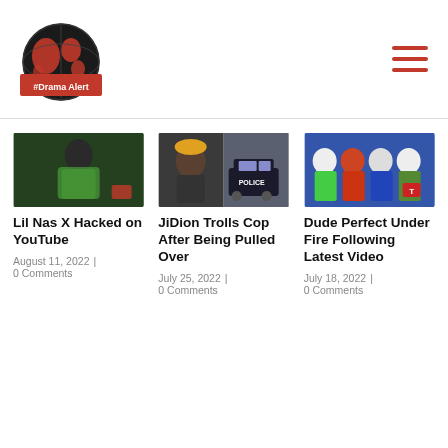#DramaAlert
[Figure (photo): Lil Nas X in green jacket]
Lil Nas X Hacked on YouTube
August 11, 2022 | 0 Comments
[Figure (photo): JiDion and police car]
JiDion Trolls Cop After Being Pulled Over
July 25, 2022 | 0 Comments
[Figure (photo): Dude Perfect group photo]
Dude Perfect Under Fire Following Latest Video
July 18, 2022 | 0 Comments